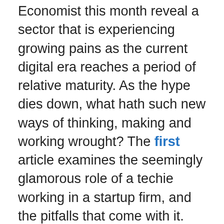Economist this month reveal a sector that is experiencing growing pains as the current digital era reaches a period of relative maturity. As the hype dies down, what hath such new ways of thinking, making and working wrought? The first article examines the seemingly glamorous role of a techie working in a startup firm, and the pitfalls that come with it. The article reports that “Only 19% of tech employees said they were happy in their jobs and only 17% said they felt valued in their work”. In looking at the explosion of demand for the inadequately named Hoverboard, the second article identifies that globalisation has vastly sped up a product’s journey from conception to delivery at a consumer’s home, at the expense of a proper regulatory system; it is unclear with so many disintermediated players who should shoulder the burden of quality control. The Economist sees such risk as a parable for the tricky place the sector as a whole finds